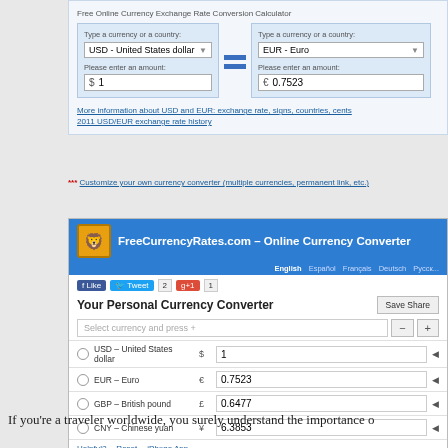[Figure (screenshot): Online currency exchange rate conversion widget showing USD to EUR conversion: 1 USD = 0.7523 EUR. Contains dropdown selectors for currency, amount fields, and links for more information and exchange rate history.]
*** Customize your own currency converter (multiple currencies, permanent link, etc.)
[Figure (screenshot): FreeCurrencyRates.com - Online Currency Converter widget showing conversion of 1 USD to: EUR 0.7523, GBP 0.6477, CNY 6.3853. Has social sharing buttons, language options (English, Español, Français, Deutsch, Русский), and links for Helpful?, Reset, iPhone App.]
If you're a traveler worldwide, you surely understand the importance o